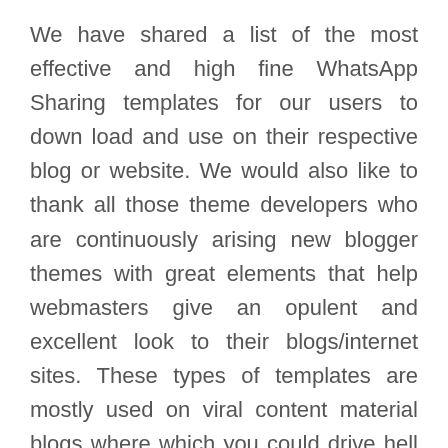We have shared a list of the most effective and high fine WhatsApp Sharing templates for our users to down load and use on their respective blog or website. We would also like to thank all those theme developers who are continuously arising new blogger themes with great elements that help webmasters give an opulent and excellent look to their blogs/internet sites. These types of templates are mostly used on viral content material blogs where which you could drive hell lot of site visitors by sharing these interesting content on WhatsApp as people love to read this form of content and immediately visit your website. As the name suggests, Templates that give a gorgeous look and developed with an artistic design are termed as